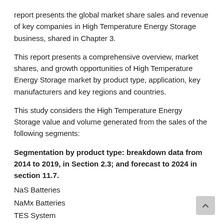report presents the global market share sales and revenue of key companies in High Temperature Energy Storage business, shared in Chapter 3.
This report presents a comprehensive overview, market shares, and growth opportunities of High Temperature Energy Storage market by product type, application, key manufacturers and key regions and countries.
This study considers the High Temperature Energy Storage value and volume generated from the sales of the following segments:
Segmentation by product type: breakdown data from 2014 to 2019, in Section 2.3; and forecast to 2024 in section 11.7.
NaS Batteries
NaMx Batteries
TES System